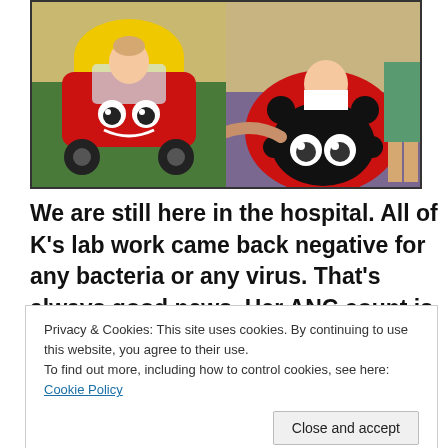[Figure (photo): Two side-by-side photos of a young toddler/baby. Left photo: child sitting in a red and yellow Little Tikes Cozy Coupe toy car on a green carpet. Right photo: child sitting inside a large red ladybug-shaped toy/ride with black spots and cartoon eyes, with an adult's hand visible.]
We are still here in the hospital. All of K's lab work came back negative for any bacteria or any virus. That's always good news. Her ANC count is what is keeping us here.
Privacy & Cookies: This site uses cookies. By continuing to use this website, you agree to their use.
To find out more, including how to control cookies, see here: Cookie Policy
min to change her diaper due to all the fluids she is on. We